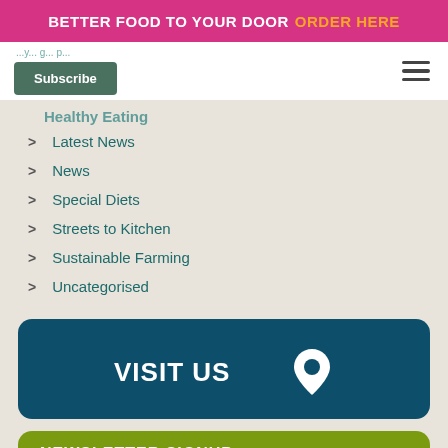BETTER FOOD TO YOUR DOOR ORDER HERE
Subscribe
Healthy Eating
Latest News
News
Special Diets
Streets to Kitchen
Sustainable Farming
Uncategorised
[Figure (other): Dark teal rounded rectangle button with text VISIT US and a map pin icon]
[Figure (other): Olive green rounded rectangle with text NEWSLETTER SIGNUP partially visible]